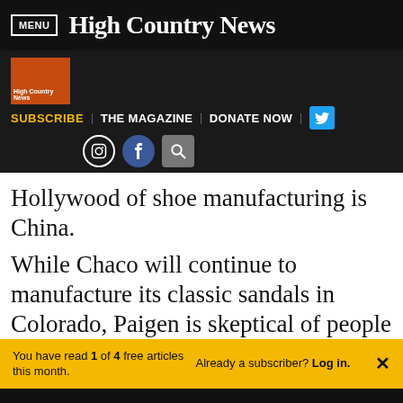MENU | High Country News
SUBSCRIBE | THE MAGAZINE | DONATE NOW
Hollywood of shoe manufacturing is China.
While Chaco will continue to manufacture its classic sandals in Colorado, Paigen is skeptical of people
You have read 1 of 4 free articles this month. Already a subscriber? Log in.
Support independent journalism.
Subscribe